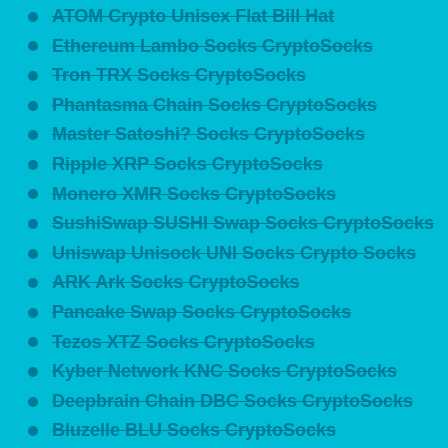ATOM Crypto Unisex Flat Bill Hat
Ethereum Lambo Socks CryptoSocks
Tron TRX Socks CryptoSocks
Phantasma Chain Socks CryptoSocks
Master Satoshi? Socks CryptoSocks
Ripple XRP Socks CryptoSocks
Monero XMR Socks CryptoSocks
SushiSwap SUSHI Swap Socks CryptoSocks
Uniswap Unisock UNI Socks Crypto Socks
ARK Ark Socks CryptoSocks
Pancake Swap Socks CryptoSocks
Tezos XTZ Socks CryptoSocks
Kyber Network KNC Socks CryptoSocks
Deepbrain Chain DBC Socks CryptoSocks
Bluzelle BLU Socks CryptoSocks
Binance Coin BNB Socks CryptoSocks
Ethereum ETH Socks CryptoSocks
Skycoin SKY Socks CryptoSocks